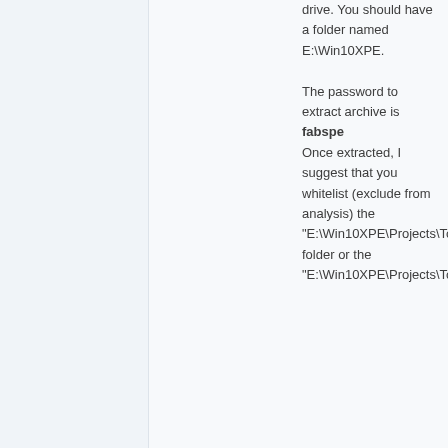drive. You should have a folder named E:\Win10XPE.
The password to extract archive is fabspe
Once extracted, I suggest that you whitelist (exclude from analysis) the "E:\Win10XPE\Projects\Tools" folder or the "E:\Win10XPE\Projects\Tools\GWT.exe"